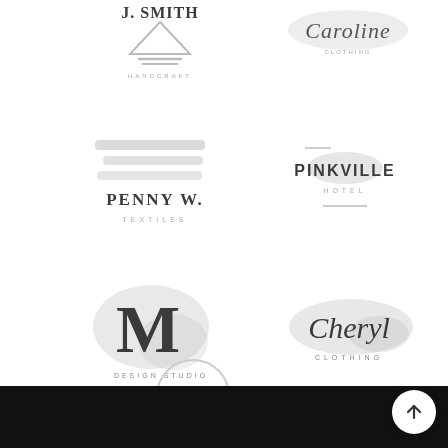[Figure (logo): J. SMITH HANDCRAFT logo with serif text and a triangular/anvil graphic element]
[Figure (logo): Caroline script logo with decorative script text and subtitle]
[Figure (logo): PENNY W. TEXTILES logo with horizontal brushstroke graphic and spaced serif text]
[Figure (logo): PINKVILLE HOTEL logo with bold sans-serif text, decorative lines, and watercolor blob]
[Figure (logo): M Design Studio logo with large serif M on watercolor blob background]
[Figure (logo): Cheryl Clothing script logo with watercolor blob background]
[Figure (logo): B Cafe & Restaurant logo with circle border and script B with small text]